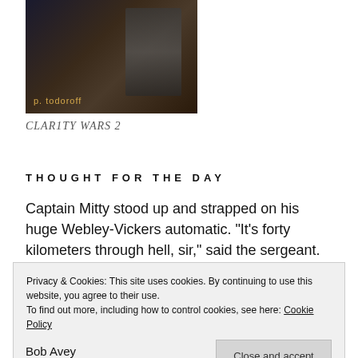[Figure (illustration): Book cover image with dark background showing a figure, with author name 'p. todoroff' in yellow/gold text at the bottom left]
CLAR1TY WARS 2
THOUGHT FOR THE DAY
Captain Mitty stood up and strapped on his huge Webley-Vickers automatic. "It's forty kilometers through hell, sir," said the sergeant. Mitty finished one last brandy. "After all," he said softly,"what isn't?"
Privacy & Cookies: This site uses cookies. By continuing to use this website, you agree to their use.
To find out more, including how to control cookies, see here: Cookie Policy
Close and accept
Bob Avey